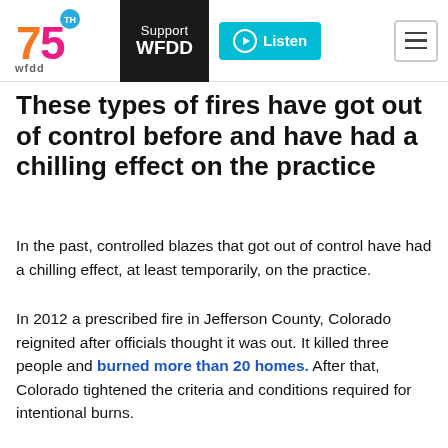WFDD 75th anniversary logo | Support WFDD | Listen | Menu
These types of fires have got out of control before and have had a chilling effect on the practice
In the past, controlled blazes that got out of control have had a chilling effect, at least temporarily, on the practice.
In 2012 a prescribed fire in Jefferson County, Colorado reignited after officials thought it was out. It killed three people and burned more than 20 homes. After that, Colorado tightened the criteria and conditions required for intentional burns.